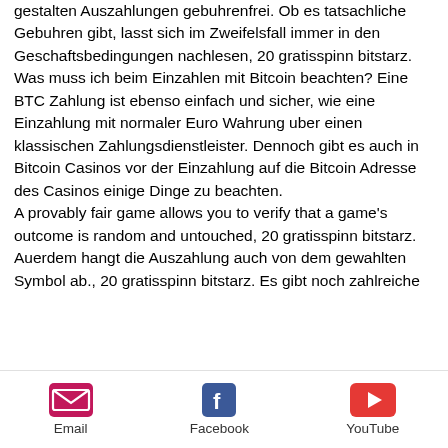gestalten Auszahlungen gebuhrenfrei. Ob es tatsachliche Gebuhren gibt, lasst sich im Zweifelsfall immer in den Geschaftsbedingungen nachlesen, 20 gratisspinn bitstarz. Was muss ich beim Einzahlen mit Bitcoin beachten? Eine BTC Zahlung ist ebenso einfach und sicher, wie eine Einzahlung mit normaler Euro Wahrung uber einen klassischen Zahlungsdienstleister. Dennoch gibt es auch in Bitcoin Casinos vor der Einzahlung auf die Bitcoin Adresse des Casinos einige Dinge zu beachten.
A provably fair game allows you to verify that a game's outcome is random and untouched, 20 gratisspinn bitstarz.
Auerdem hangt die Auszahlung auch von dem gewahlten Symbol ab., 20 gratisspinn bitstarz. Es gibt noch zahlreiche
[Figure (infographic): Footer bar with three social/contact icons: Email (envelope icon, pink/red), Facebook (f logo, dark blue), YouTube (play button icon, red)]